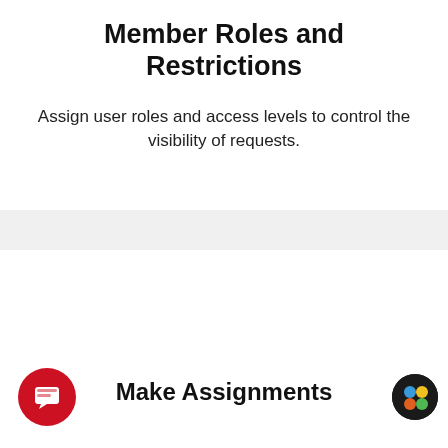Member Roles and Restrictions
Assign user roles and access levels to control the visibility of requests.
[Figure (screenshot): Chat popup widget from CivicPlus showing a message bubble icon in red circle, a white popup card with close X button and text 'Hi. We're CivicPlus. How can we help you today?', a red bracket decoration, and a red circular chat button at bottom left.]
Make Assignments